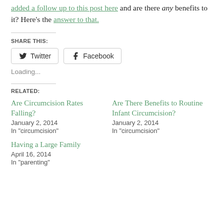added a follow up to this post here and are there any benefits to it? Here's the answer to that.
SHARE THIS:
Twitter  Facebook
Loading...
RELATED:
Are Circumcision Rates Falling?
January 2, 2014
In "circumcision"
Are There Benefits to Routine Infant Circumcision?
January 2, 2014
In "circumcision"
Having a Large Family
April 16, 2014
In "parenting"